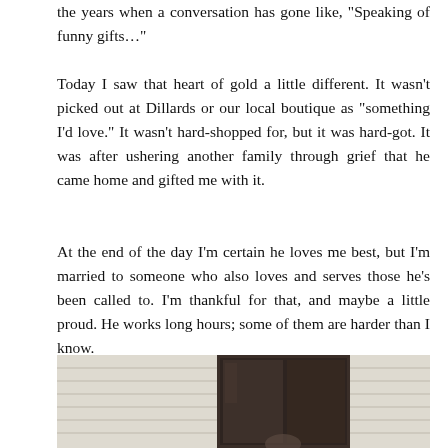the years when a conversation has gone like, "Speaking of funny gifts…"
Today I saw that heart of gold a little different. It wasn't picked out at Dillards or our local boutique as "something I'd love." It wasn't hard-shopped for, but it was hard-got. It was after ushering another family through grief that he came home and gifted me with it.
At the end of the day I'm certain he loves me best, but I'm married to someone who also loves and serves those he's been called to. I'm thankful for that, and maybe a little proud. He works long hours; some of them are harder than I know.
[Figure (photo): Photograph of a person standing in front of a house with white horizontal siding, centered in front of a dark sliding glass door or window]